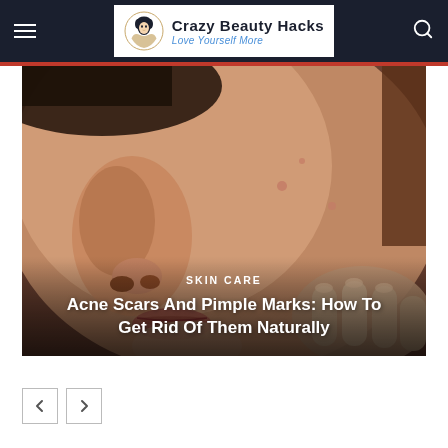Crazy Beauty Hacks — Love Yourself More
[Figure (photo): Close-up of a woman's face and hand touching her cheek, showing skin with slight blemishes/acne marks, warm skin tones.]
SKIN CARE
Acne Scars And Pimple Marks: How To Get Rid Of Them Naturally